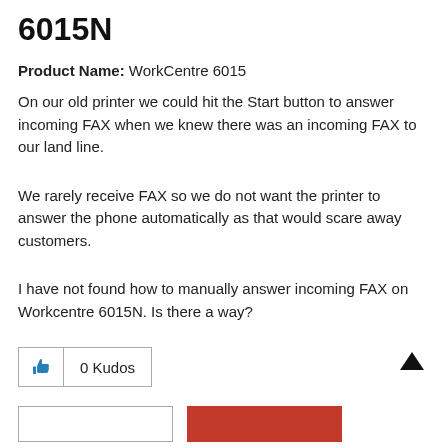6015N
Product Name: WorkCentre 6015
On our old printer we could hit the Start button to answer incoming FAX when we knew there was an incoming FAX to our land line.
We rarely receive FAX so we do not want the printer to answer the phone automatically as that would scare away customers.
I have not found how to manually answer incoming FAX on Workcentre 6015N. Is there a way?
[Figure (other): Kudos button with thumbs up icon and '0 Kudos' label, plus an up-arrow scroll button and two action buttons at the bottom (one outline, one red).]